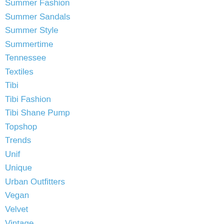Summer Fashion
Summer Sandals
Summer Style
Summertime
Tennessee
Textiles
Tibi
Tibi Fashion
Tibi Shane Pump
Topshop
Trends
Unif
Unique
Urban Outfitters
Vegan
Velvet
Vintage
Vogue
Vogue China
Wang Xiao
Wedding